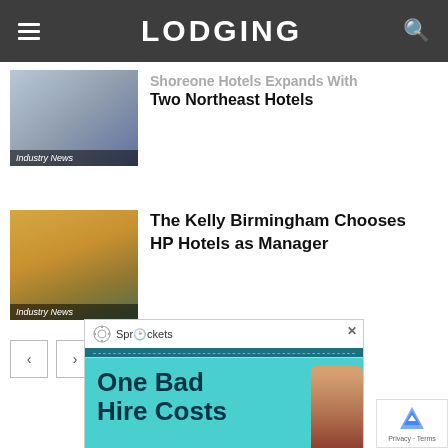LODGING
Shoreone Hotels Expands With Two Northeast Hotels
Industry News
The Kelly Birmingham Chooses HP Hotels as Manager
Industry News
[Figure (screenshot): Pagination buttons: left arrow and right arrow]
[Figure (infographic): Advertisement: Sprockets - One Bad Hire Costs...]